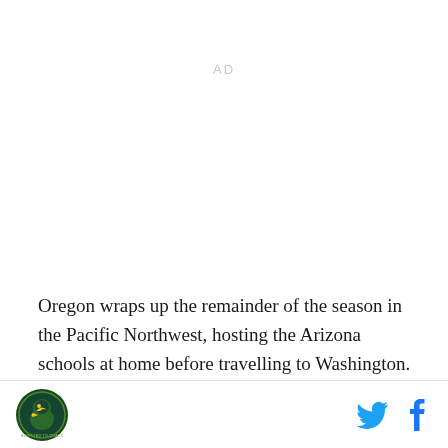[Figure (other): AD placeholder text in light gray]
Oregon wraps up the remainder of the season in the Pacific Northwest, hosting the Arizona schools at home before travelling to Washington. Arizona State has not presented Oregon with much of a challenge at home
Oregon Ducks logo | Twitter icon | Facebook icon